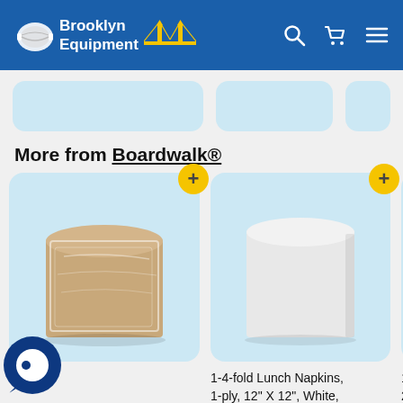[Figure (screenshot): Brooklyn Equipment website header with logo (facemask icon, text 'Brooklyn Equipment', bridge icon), search icon, cart icon, and hamburger menu icon on blue background]
[Figure (screenshot): Partial product cards visible at top of page (light blue rounded rectangle cards, partially cropped)]
More from Boardwalk®
[Figure (photo): Brown/kraft wrapped block of 1-4-fold lunch napkins, 1-ply, 12 X 12, Kraft]
[Figure (photo): White block of 1-4-fold lunch napkins, 1-ply, 12" X 12", White]
1-4-fold Lunch Napkins, 1-ply, 12 X 12, Kraft,
1-4-fold Lunch Napkins, 1-ply, 12" X 12", White,
1- 2-